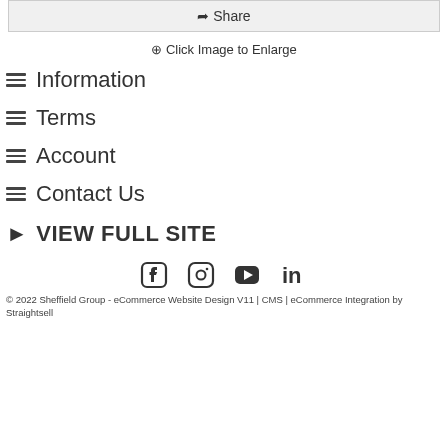Share
Click Image to Enlarge
Information
Terms
Account
Contact Us
VIEW FULL SITE
[Figure (other): Social media icons: Facebook, Instagram, YouTube, LinkedIn]
© 2022 Sheffield Group - eCommerce Website Design V11 | CMS | eCommerce Integration by Straightsell